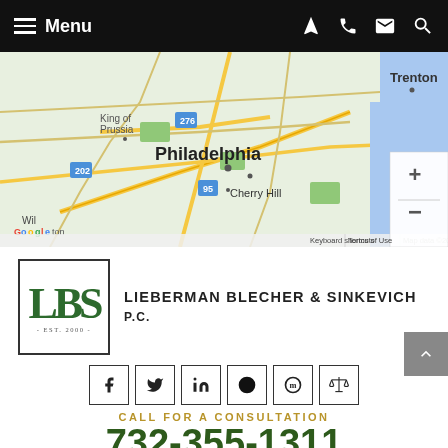Menu
[Figure (map): Google Maps screenshot showing Philadelphia, NJ/PA area including Trenton, King of Prussia, Cherry Hill, Lakewood, Toms River. Map data ©2022 Google.]
[Figure (logo): LBS logo with letters L, B, S in green serif font inside a rectangular border, with text EST. 2000 below. Firm name: LIEBERMAN BLECHER & SINKEVICH P.C.]
[Figure (infographic): Social media icons row: Facebook, Twitter, LinkedIn, and other icons, each in a square border]
CALL FOR A CONSULTATION
732-355-1311
10 Jefferson Plaza, Suite 400 | Princeton, New Jersey 08540